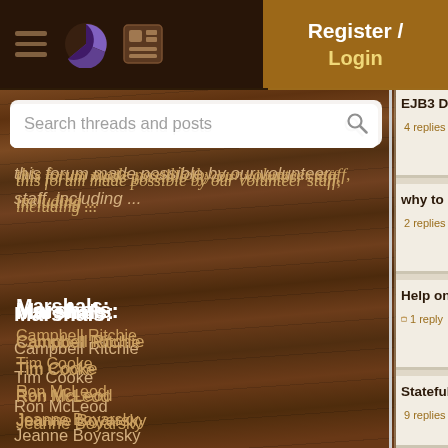Navigation bar with hamburger menu, logo icons, and Register/Login button
Search threads and posts
this forum made possible by our volunteer staff, including ...
Marshals:
Campbell Ritchie
Tim Cooke
Ron McLeod
Jeanne Boyarsky
Paul Clapham
Sheriffs:
Liutauras Vilda
Henry Wong
Devaka Cooray
EJB3 Do...
4 replies
why to use Home Interfa...
2 replies
Help on Using Stateful Se...
1 reply
Stateful session bean in s...
9 replies
My SCEA Part 1Study Note...
22 replies